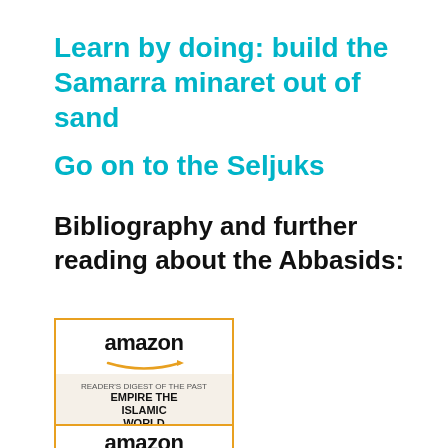Learn by doing: build the Samarra minaret out of sand
Go on to the Seljuks
Bibliography and further reading about the Abbasids:
[Figure (screenshot): Amazon product listing card for a book titled 'Empire of the Islamic World', showing the Amazon logo with orange arrow, book cover with blue illustration, and a blue link title at the bottom. A second Amazon card is partially visible below.]